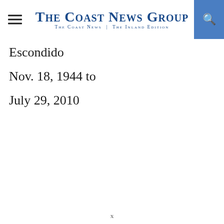The Coast News Group — The Coast News | The Inland Edition
Escondido
Nov. 18, 1944 to
July 29, 2010